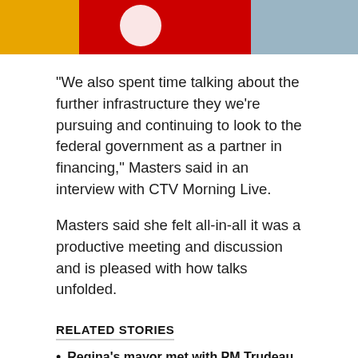[Figure (photo): Partial image strip showing yellow, red, and blue-grey sections, likely a cropped news article banner image]
“We also spent time talking about the further infrastructure they we’re pursuing and continuing to look to the federal government as a partner in financing,” Masters said in an interview with CTV Morning Live.
Masters said she felt all-in-all it was a productive meeting and discussion and is pleased with how talks unfolded.
RELATED STORIES
Regina's mayor met with PM Trudeau in Ottawa Monday